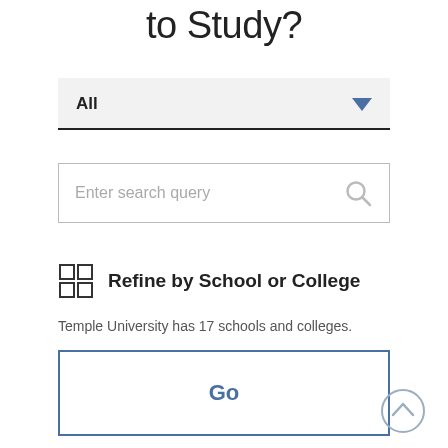to Study?
[Figure (screenshot): Dropdown selector showing 'All' with a blue downward arrow, a search input box with placeholder 'Enter search query' and a search icon, a 'Refine by School or College' section with a grid icon, a 'Go' button with blue border, and a back-to-top circle button.]
Temple University has 17 schools and colleges.